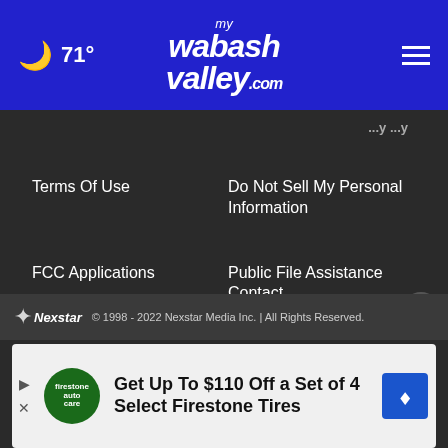71° mywabashvalley.com
Terms Of Use
Do Not Sell My Personal Information
FCC Applications
Public File Assistance Contact
The Hill
NewsNation
BestReviews
Content Licensing
Nexstar Digital
© 1998 - 2022 Nexstar Media Inc. | All Rights Reserved.
[Figure (infographic): Advertisement banner: Get Up To $110 Off a Set of 4 Select Firestone Tires, with Firestone logo and blue directional arrow icon]